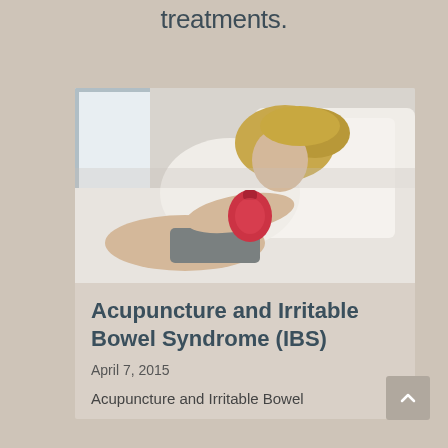treatments.
[Figure (photo): Woman lying in bed holding a red hot water bottle against her abdomen, wearing a white t-shirt, with white pillows and bedding around her]
Acupuncture and Irritable Bowel Syndrome (IBS)
April 7, 2015
Acupuncture and Irritable Bowel